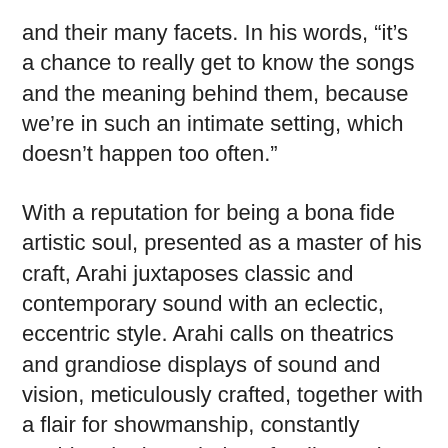and their many facets. In his words, “it’s a chance to really get to know the songs and the meaning behind them, because we’re in such an intimate setting, which doesn’t happen too often.”
With a reputation for being a bona fide artistic soul, presented as a master of his craft, Arahi juxtaposes classic and contemporary sound with an eclectic, eccentric style. Arahi calls on theatrics and grandiose displays of sound and vision, meticulously crafted, together with a flair for showmanship, constantly pushing the boundaries of Indie music.
Arahi released ‘The Best Thing I’ve Ever Seen’ a blissful, hazy tune, in April, which as Arahi aptly sums up, feels “like a red hot 80s sun